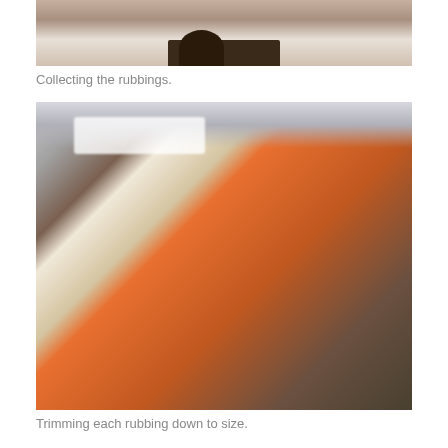[Figure (photo): Top portion of a photo showing the inside of a curved wooden structure with a person's feet/boots visible standing on a wooden floor with a circular opening/tool]
Collecting the rubbings.
[Figure (photo): Man in orange sweater and cap holding a curved white strip/rubbing in a workshop setting with wooden shelves, tools, and lumber visible in the background]
Trimming each rubbing down to size.